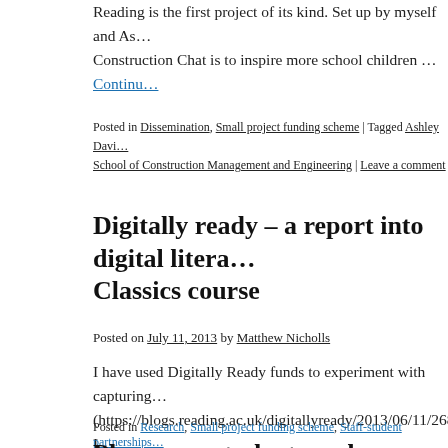Reading is the first project of its kind. Set up by myself and As… Construction Chat is to inspire more school children … Continue reading →
Posted in Dissemination, Small project funding scheme | Tagged Ashley Davi… School of Construction Management and Engineering | Leave a comment
Digitally ready – a report into digital litera… Classics course
Posted on July 11, 2013 by Matthew Nicholls
I have used Digitally Ready funds to experiment with capturing… (https://blogs.reading.ac.uk/digitallyready/2013/06/11/2685/). I… Digital Paedagogy in Classics. It seems to me that we expect fai… without systematically equipping our … Continue reading →
Posted in Research, Small project funding scheme, Staff-student partnerships…
Pharmacy students and e-books: conclus…
Posted on July 9, 2013 by Erika Delbecque